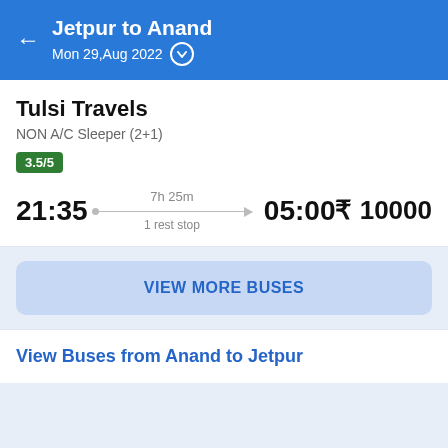Jetpur to Anand — Mon 29,Aug 2022
Tulsi Travels
NON A/C Sleeper (2+1)
3.5/5
21:35   7h 25m   05:00   1 rest stop   ₹ 10000
VIEW MORE BUSES
View Buses from Anand to Jetpur
Sponsored